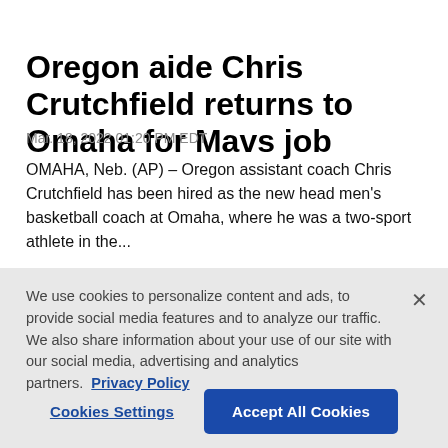Oregon aide Chris Crutchfield returns to Omaha for Mavs job
Mar. 18, 2022 01:20 PM EDT
OMAHA, Neb. (AP) – Oregon assistant coach Chris Crutchfield has been hired as the new head men's basketball coach at Omaha, where he was a two-sport athlete in the...
[Figure (photo): Dark background photo showing heads/faces of people, partially visible]
We use cookies to personalize content and ads, to provide social media features and to analyze our traffic. We also share information about your use of our site with our social media, advertising and analytics partners. Privacy Policy
Cookies Settings | Accept All Cookies